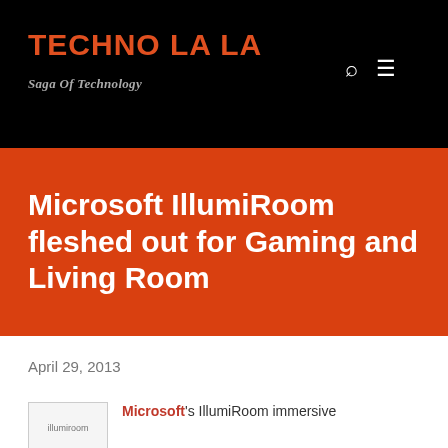TECHNO LA LA
Saga Of Technology
Microsoft IllumiRoom fleshed out for Gaming and Living Room
April 29, 2013
[Figure (photo): illumiroom image placeholder]
Microsoft's IllumiRoom immersive